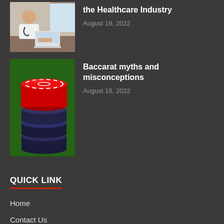[Figure (photo): Doctor in white coat sitting at laptop with stethoscope]
the Healthcare Industry
August 19, 2022
[Figure (photo): Stack of red and black casino chips on green background]
Baccarat myths and misconceptions
August 18, 2022
QUICK LINK
Home
Contact Us
About Us
OUR FRIENDS